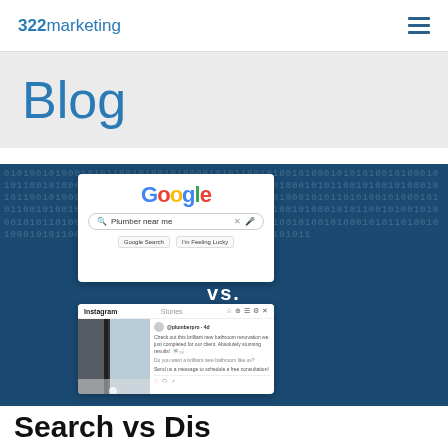322marketing  [hamburger menu]
Blog
[Figure (illustration): Blog post featured image: dark blue binary code background with two overlaid screenshots — top shows Google search interface with 'Plumber near me' query, bottom shows an Instagram post with a bathroom image. White bold 'vs.' text between them.]
Search vs Dis…